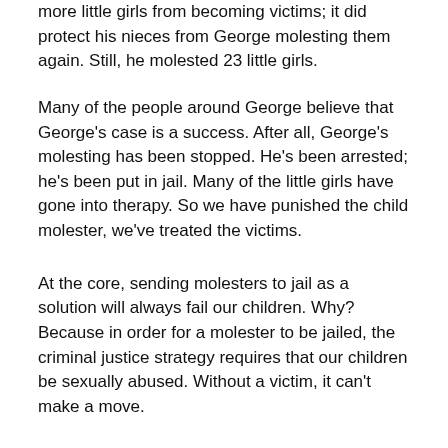more little girls from becoming victims; it did protect his nieces from George molesting them again. Still, he molested 23 little girls.
Many of the people around George believe that George's case is a success. After all, George's molesting has been stopped. He's been arrested; he's been put in jail. Many of the little girls have gone into therapy. So we have punished the child molester, we've treated the victims.
At the core, sending molesters to jail as a solution will always fail our children. Why? Because in order for a molester to be jailed, the criminal justice strategy requires that our children be sexually abused. Without a victim, it can't make a move.
It's the same with treating the victims.